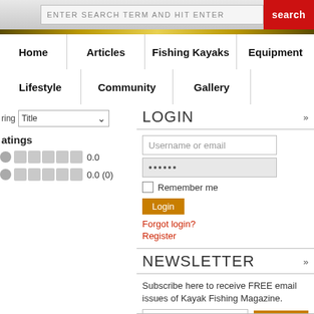ENTER SEARCH TERM AND HIT ENTER | search
Home | Articles | Fishing Kayaks | Equipment
Lifestyle | Community | Gallery
LOGIN
Username or email
••••••
Remember me
Login
Forgot login?
Register
ring | Title dropdown | atings | 0.0 | 0.0 (0)
NEWSLETTER
Subscribe here to receive FREE email issues of Kayak Fishing Magazine.
E-mail
Subscribe